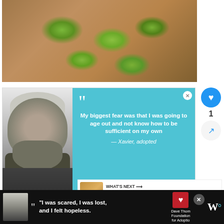[Figure (photo): Overhead photo of sliced avocado pieces on toast or a wooden board, green avocado slices visible on brown background]
[Figure (photo): Advertisement for Dave Thomas Foundation for Adoption. Left: black and white portrait photo of a young man with a beanie hat and long beard/hair. Right: teal/blue background with large quotation marks and text: 'My biggest fear was that I was going to age out and not know how to be sufficient on my own' — Xavier, adopted. Dave Thomas Foundation logo at bottom.]
[Figure (infographic): WHAT'S NEXT banner showing thumbnail and text: 52+ Best Peanut Butt...]
[Figure (advertisement): Bottom banner ad: Black background, woman photo, quote icon, text 'I was scared, I was lost, and I felt hopeless.' Dave Thomas Foundation for Adoption logo, close button, W° logo]